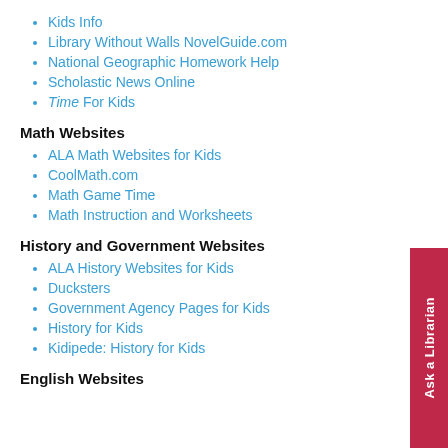Kids Info
Library Without Walls NovelGuide.com
National Geographic Homework Help
Scholastic News Online
Time For Kids
Math Websites
ALA Math Websites for Kids
CoolMath.com
Math Game Time
Math Instruction and Worksheets
History and Government Websites
ALA History Websites for Kids
Ducksters
Government Agency Pages for Kids
History for Kids
Kidipede: History for Kids
English Websites